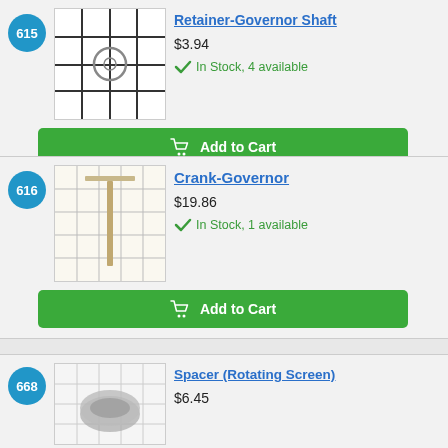615
[Figure (photo): Retainer-Governor Shaft part on grid background]
Retainer-Governor Shaft
$3.94
In Stock, 4 available
Add to Cart
616
[Figure (photo): Crank-Governor part on grid background]
Crank-Governor
$19.86
In Stock, 1 available
Add to Cart
668
[Figure (photo): Spacer (Rotating Screen) part on grid background]
Spacer (Rotating Screen)
$6.45